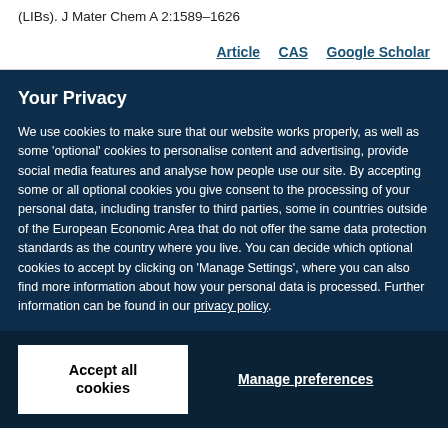(LIBs). J Mater Chem A 2:1589–1626
Article   CAS   Google Scholar
Your Privacy
We use cookies to make sure that our website works properly, as well as some 'optional' cookies to personalise content and advertising, provide social media features and analyse how people use our site. By accepting some or all optional cookies you give consent to the processing of your personal data, including transfer to third parties, some in countries outside of the European Economic Area that do not offer the same data protection standards as the country where you live. You can decide which optional cookies to accept by clicking on 'Manage Settings', where you can also find more information about how your personal data is processed. Further information can be found in our privacy policy.
Accept all cookies
Manage preferences